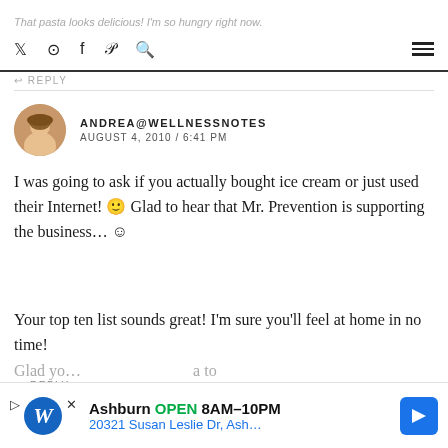That pasta looks delicious! I'm so hungry right now.
REPLY
ANDREA@WELLNESSNOTES
AUGUST 4, 2010 / 6:41 PM
I was going to ask if you actually bought ice cream or just used their Internet! 🙂 Glad to hear that Mr. Prevention is supporting the business… ☺

Your top ten list sounds great! I'm sure you'll feel at home in no time!
REPLY
KATIE @ HEALTHY HEDDLESTON
Glad yo... a to
[Figure (infographic): Walgreens ad: Ashburn OPEN 8AM-10PM, 20321 Susan Leslie Dr, Ash...]